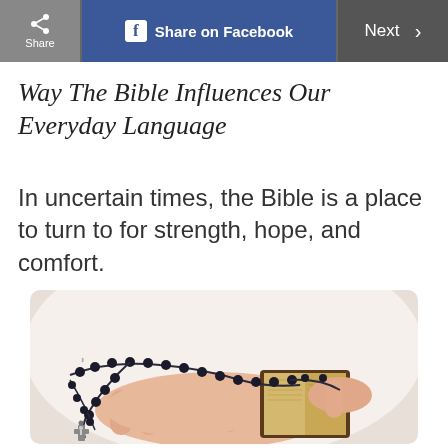Share | Share on Facebook | Next >
Way The Bible Influences Our Everyday Language
In uncertain times, the Bible is a place to turn to for strength, hope, and comfort.
[Figure (photo): Hands holding a small open Bible with a black rosary beaded necklace and cross draped over them, against a white background.]